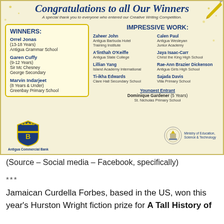[Figure (infographic): Creative Writing Competition winners announcement banner with 'Congratulations to all Our Winners' heading, lists of winners and impressive work entrants, and sponsor logos for Antigua Commercial Bank and Ministry of Education, Science & Technology.]
(Source – Social media – Facebook, specifically)
***
Jamaican Curdella Forbes, based in the US, won this year's Hurston Wright fiction prize for A Tall History of